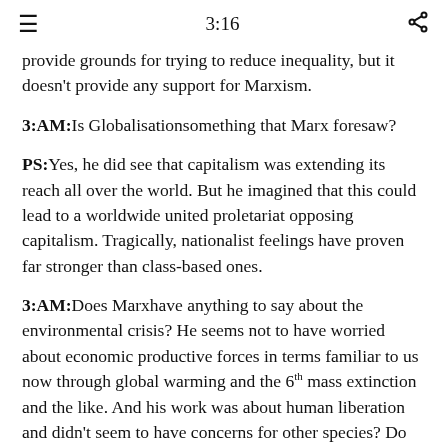≡   3:16   ⋮
provide grounds for trying to reduce inequality, but it doesn't provide any support for Marxism.
3:AM: Is Globalisationsomething that Marx foresaw?
PS: Yes, he did see that capitalism was extending its reach all over the world. But he imagined that this could lead to a worldwide united proletariat opposing capitalism. Tragically, nationalist feelings have proven far stronger than class-based ones.
3:AM: Does Marxhave anything to say about the environmental crisis? He seems not to have worried about economic productive forces in terms familiar to us now through global warming and the 6th mass extinction and the like. And his work was about human liberation and didn't seem to have concerns for other species? Do these blindspots and others, such as its helicopter view about the overthrow of the whole capitalist system, show Marxism to